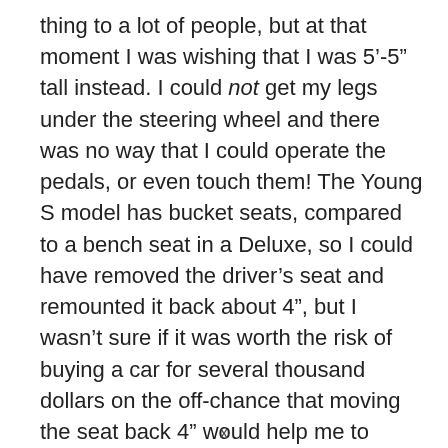thing to a lot of people, but at that moment I was wishing that I was 5'-5" tall instead. I could not get my legs under the steering wheel and there was no way that I could operate the pedals, or even touch them! The Young S model has bucket seats, compared to a bench seat in a Deluxe, so I could have removed the driver's seat and remounted it back about 4", but I wasn't sure if it was worth the risk of buying a car for several thousand dollars on the off-chance that moving the seat back 4" would help me to operate it safely, or at all. I had to pass it up and I was crushed, believe it or not. I know that for most of you these are clown cars and they're a joke, but to us enthusiasts they are very serious vehicles and we're as passionate about them as you may be about your Mustang.
x